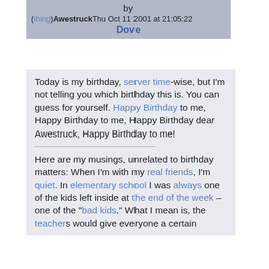by (thing) Awestruck Thu Oct 11 2001 at 21:05:22 Dove
Today is my birthday, server time-wise, but I'm not telling you which birthday this is. You can guess for yourself. Happy Birthday to me, Happy Birthday to me, Happy Birthday dear Awestruck, Happy Birthday to me!
Here are my musings, unrelated to birthday matters: When I'm with my real friends, I'm quiet. In elementary school I was always one of the kids left inside at the end of the week – one of the "bad kids." What I mean is, the teachers would give everyone a certain